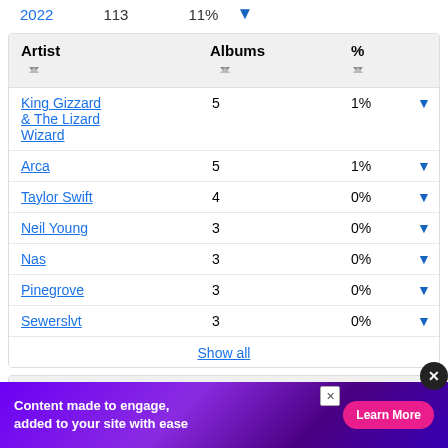2022   113   11%   [filter icon]
| Artist | Albums | % |  |
| --- | --- | --- | --- |
| King Gizzard & The Lizard Wizard | 5 | 1% | ▼ |
| Arca | 5 | 1% | ▼ |
| Taylor Swift | 4 | 0% | ▼ |
| Neil Young | 3 | 0% | ▼ |
| Nas | 3 | 0% | ▼ |
| Pinegrove | 3 | 0% | ▼ |
| Sewerslvt | 3 | 0% | ▼ |
Show all
| Country | Albums | % |
| --- | --- | --- |